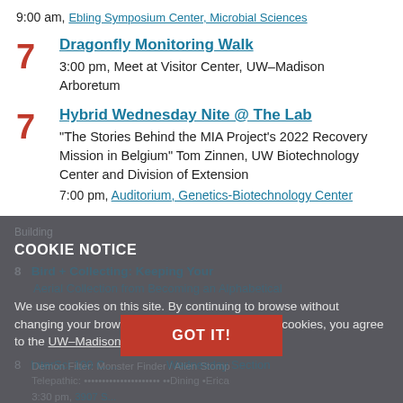9:00 am, Ebling Symposium Center, Microbial Sciences
7 Dragonfly Monitoring Walk
3:00 pm, Meet at Visitor Center, UW–Madison Arboretum
7 Hybrid Wednesday Nite @ The Lab
"The Stories Behind the MIA Project's 2022 Recovery Mission in Belgium" Tom Zinnen, UW Biotechnology Center and Division of Extension
7:00 pm, Auditorium, Genetics-Biotechnology Center
COOKIE NOTICE
We use cookies on this site. By continuing to browse without changing your browser settings to block or delete cookies, you agree to the UW–Madison Privacy Notice.